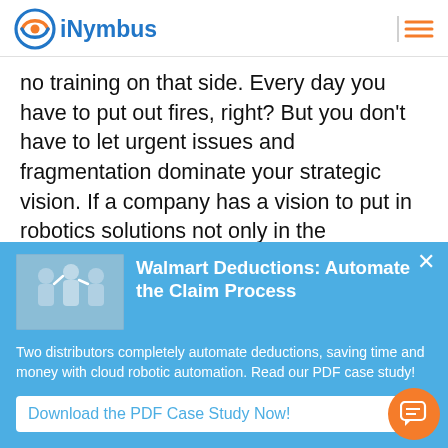iNymbus
no training on that side. Every day you have to put out fires, right? But you don't have to let urgent issues and fragmentation dominate your strategic vision. If a company has a vision to put in robotics solutions not only in the deductions space but in other areas, and if it is a strategic vision for your department or the
[Figure (screenshot): Popup banner with image of people high-fiving, title 'Walmart Deductions: Automate the Claim Process', description text, and a download button]
Walmart Deductions: Automate the Claim Process
Two distributors completely automate deductions, saving time and money with cloud robotic automation. Read our PDF case study!
Download the PDF Case Study Now!